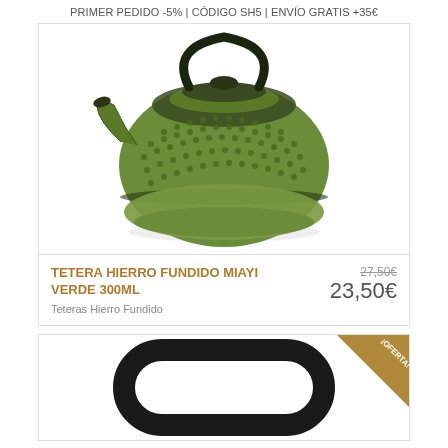PRIMER PEDIDO -5% | CÓDIGO SH5 | ENVÍO GRATIS +35€
[Figure (photo): Green cast iron teapot (Tetera Hierro Fundido Miayi Verde 300ML) with hobnail texture, photographed on white background]
TETERA HIERRO FUNDIDO MIAYI VERDE 300ML
Teteras Hierro Fundido
27,50€
23,50€
[Figure (photo): Black cast iron teapot lid handle/ring, square-rounded shape, photographed on white background, with gold ¡OFERTA! badge in top-right corner]